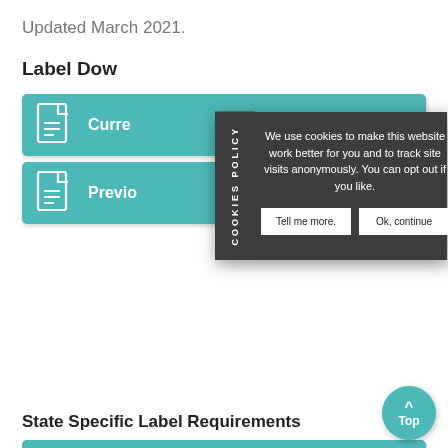Updated March 2021.
Label Dow...
Curre...
Previ...
[Figure (other): Cookie consent overlay with dark background, 'COOKIES POLICY' vertical sidebar text, message 'We use cookies to make this website work better for you and to track site visits anonymously. You can opt out if you like.', and two buttons: 'Tell me more.' and 'Ok, continue']
State Specific Label Requirements
Additional Labeling for State Restrictions
Iowa Specific Restrictions
Minnesota Specific Restrictions